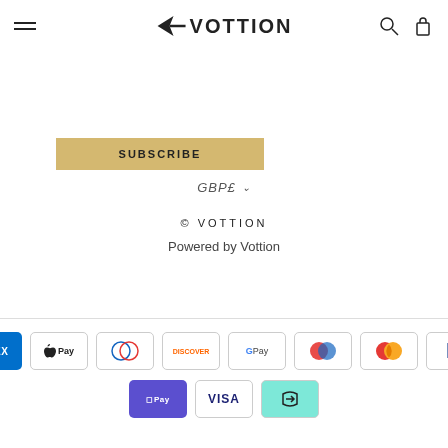VOTTION
SUBSCRIBE
GBP£
© VOTTION
Powered by Vottion
[Figure (logo): Payment method icons: American Express, Apple Pay, Diners Club, Discover, Google Pay, Maestro, Mastercard, PayPal, OPay, Visa, Twint]